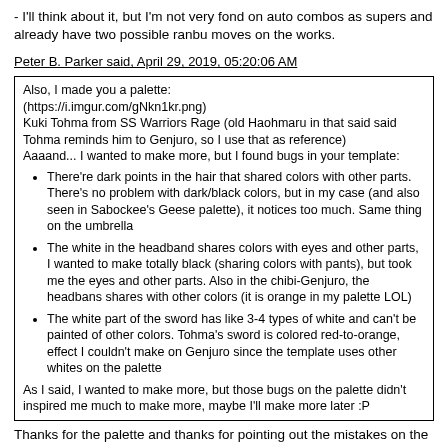- I'll think about it, but I'm not very fond on auto combos as supers and already have two possible ranbu moves on the works.
Peter B. Parker said, April 29, 2019, 05:20:06 AM
Also, I made you a palette:
(https://i.imgur.com/gNkn1kr.png)
Kuki Tohma from SS Warriors Rage (old Haohmaru in that said said Tohma reminds him to Genjuro, so I use that as reference)
Aaaand... I wanted to make more, but I found bugs in your template:

• There're dark points in the hair that shared colors with other parts. There's no problem with dark/black colors, but in my case (and also seen in Sabockee's Geese palette), it notices too much. Same thing on the umbrella
• The white in the headband shares colors with eyes and other parts, I wanted to make totally black (sharing colors with pants), but took me the eyes and other parts. Also in the chibi-Genjuro, the headbans shares with other colors (it is orange in my palette LOL)
• The white part of the sword has like 3-4 types of white and can't be painted of other colors. Tohma's sword is colored red-to-orange, effect I couldn't make on Genjuro since the template uses other whites on the palette

As I said, I wanted to make more, but those bugs on the palette didn't inspired me much to make more, maybe I'll make more later :P
Thanks for the palette and thanks for pointing out the mistakes on the template, I'm not experienced doing a palette template to be honest. Doll Genjuro's headband was a mistake on color separation so thanks for pointing it out. Good thing is that the indexes are fine so all the palettes are usable. But about the sword, he is supposed to share the white with eyes and headband.
If someone wants to make a new template using the sff be my guest. Most probably I'll generate a new one that is better for palettes.